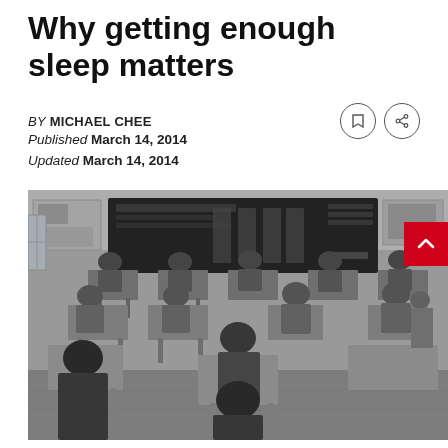Why getting enough sleep matters
BY MICHAEL CHEE
Published March 14, 2014
Updated March 14, 2014
[Figure (photo): Black and white photograph of students sitting at desks in a classroom, facing forward, with Chinese characters written on a large blackboard at the front of the room. Posters are visible on the walls.]